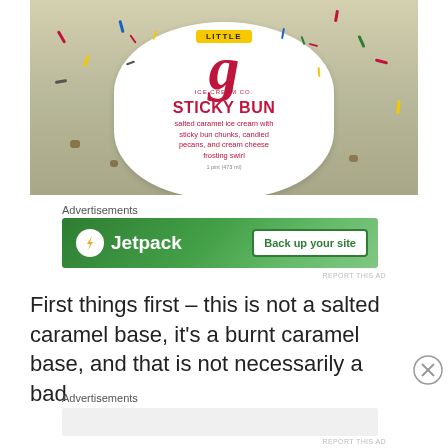[Figure (photo): Photo of Little g Ice Cream Co. 'Sticky Bun' ice cream container. The label reads: LITTLE g ICE CREAM CO., STICKY BUN, salted caramel ice cream with sticky bun chunks, candied pecans, and cream cheese frosting swirl. 1 pint (473 ml).]
Advertisements
[Figure (screenshot): Jetpack advertisement banner with green gradient background. Left side shows Jetpack logo (lightning bolt in circle) and text 'Jetpack'. Right side shows white button 'Back up your site'.]
REPORT THIS AD
First things first – this is not a salted caramel base, it's a burnt caramel base, and that is not necessarily a bad
Advertisements
REPORT THIS AD